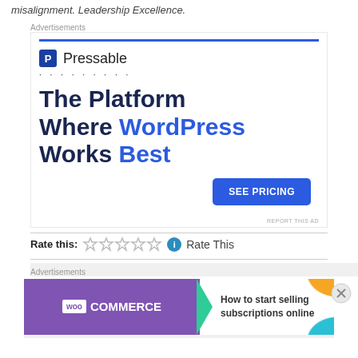misalignment. Leadership Excellence.
Advertisements
[Figure (screenshot): Pressable advertisement banner: logo with 'P Pressable', dotted line, headline 'The Platform Where WordPress Works Best', blue 'SEE PRICING' button, and 'REPORT THIS AD' link.]
Rate this: Rate This
Advertisements
[Figure (screenshot): WooCommerce advertisement: purple background with WooCommerce logo and green arrow, text 'How to start selling subscriptions online', decorative colored shapes.]